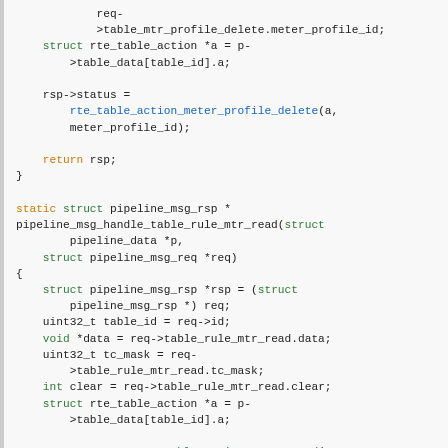[Figure (other): C source code snippet showing pipeline message handler functions for meter profile delete and meter read operations]